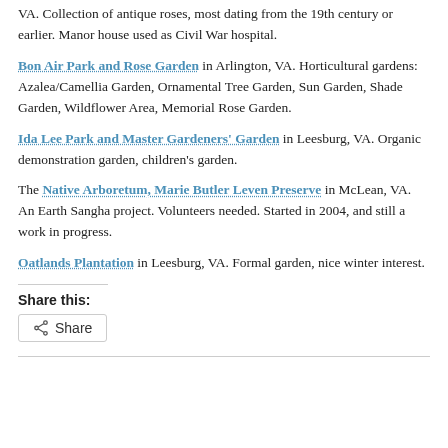VA. Collection of antique roses, most dating from the 19th century or earlier. Manor house used as Civil War hospital.
Bon Air Park and Rose Garden in Arlington, VA. Horticultural gardens: Azalea/Camellia Garden, Ornamental Tree Garden, Sun Garden, Shade Garden, Wildflower Area, Memorial Rose Garden.
Ida Lee Park and Master Gardeners' Garden in Leesburg, VA. Organic demonstration garden, children's garden.
The Native Arboretum, Marie Butler Leven Preserve in McLean, VA. An Earth Sangha project. Volunteers needed. Started in 2004, and still a work in progress.
Oatlands Plantation in Leesburg, VA. Formal garden, nice winter interest.
Share this: